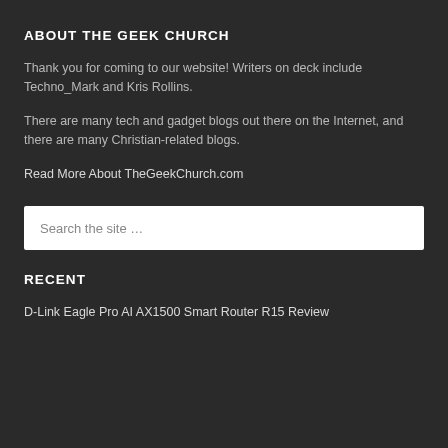ABOUT THE GEEK CHURCH
Thank you for coming to our website! Writers on deck include Techno_Mark and Kris Rollins.
There are many tech and gadget blogs out there on the Internet, and there are many Christian-related blogs.
Read More About TheGeekChurch.com
[Figure (other): Search input field with placeholder text 'Search the site ...']
RECENT
D-Link Eagle Pro AI AX1500 Smart Router R15 Review